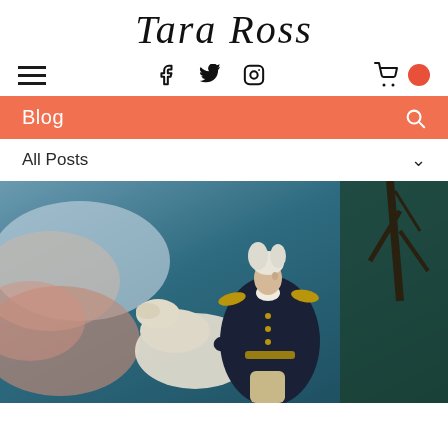Tara Ross
[Figure (logo): Navigation bar with hamburger menu, social media icons (Facebook, Twitter, Instagram), shopping cart icon, and dark circle button]
Blog
All Posts
[Figure (photo): Historical oil painting portrait of George Washington in military uniform (dark blue coat with gold epaulettes) standing next to a white horse, with a dramatic cloudy sky background and bare trees]